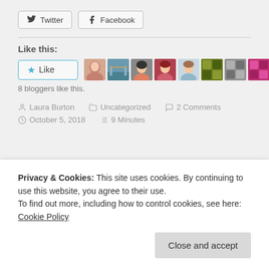[Figure (other): Social sharing buttons for Twitter and Facebook]
Like this:
[Figure (other): Like button and 8 blogger avatar thumbnails]
8 bloggers like this.
Laura Burton   Uncategorized   2 Comments   October 5, 2018   9 Minutes
Privacy & Cookies: This site uses cookies. By continuing to use this website, you agree to their use.
To find out more, including how to control cookies, see here: Cookie Policy
Close and accept